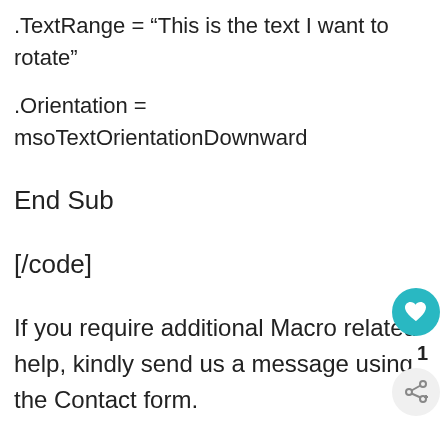.TextRange = “This is the text I want to rotate”
.Orientation = msoTextOrientationDownward
End Sub
[/code]
If you require additional Macro related help, kindly send us a message using the Contact form.